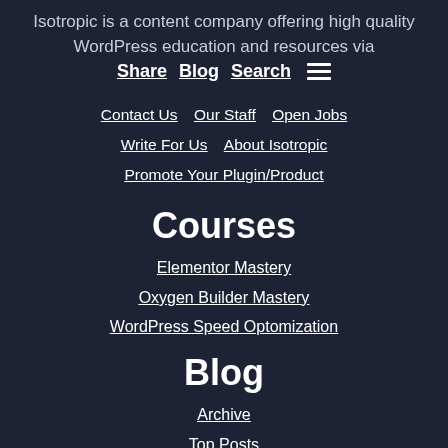Isotropic is a content company offering high quality WordPress education and resources via
Share  Blog  Search  ≡
Contact Us
Our Staff
Open Jobs
Write For Us
About Isotropic
Promote Your Plugin/Product
Courses
Elementor Mastery
Oxygen Builder Mastery
WordPress Speed Optomization
Blog
Archive
Top Posts
Agency